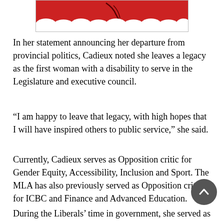[Figure (illustration): Partial illustration showing a red shape (likely a maple leaf or political figure) with white scalloped/cloud-like border at bottom, cropped at top of page]
In her statement announcing her departure from provincial politics, Cadieux noted she leaves a legacy as the first woman with a disability to serve in the Legislature and executive council.
“I am happy to leave that legacy, with high hopes that I will have inspired others to public service,” she said.
Currently, Cadieux serves as Opposition critic for Gender Equity, Accessibility, Inclusion and Sport. The MLA has also previously served as Opposition critic for ICBC and Finance and Advanced Education.
During the Liberals’ time in government, she served as